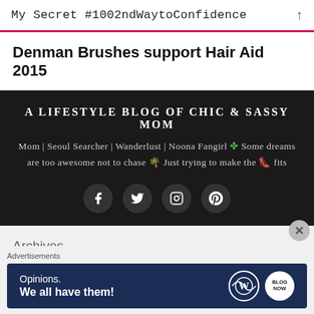My Secret #1002ndWaytoConfidence
Denman Brushes support Hair Aid 2015
A LIFESTYLE BLOG OF CHIC & SASSY MOM
Mom | Seoul Searcher | Wanderlust | Noona Fangirl 🍀 Some dreams are too awesome not to chase 🌴 Just trying to make the 👠 fits
[Figure (infographic): Social media icons: Facebook, Twitter, Instagram, Pinterest in dark circular buttons]
Archives
Advertisements
[Figure (screenshot): WordPress advertisement banner: Opinions. We all have them! with WordPress and blog logos]